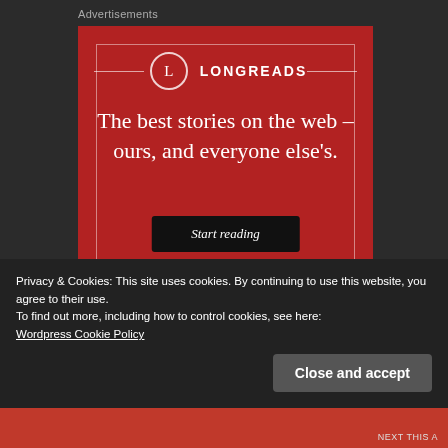Advertisements
[Figure (illustration): Longreads advertisement banner on red background. Features Longreads logo (L in circle with horizontal lines) at top, headline text 'The best stories on the web – ours, and everyone else's.' in white serif font, and a black 'Start reading' button.]
REPORT THIS AD
Privacy & Cookies: This site uses cookies. By continuing to use this website, you agree to their use.
To find out more, including how to control cookies, see here:
Wordpress Cookie Policy
Close and accept